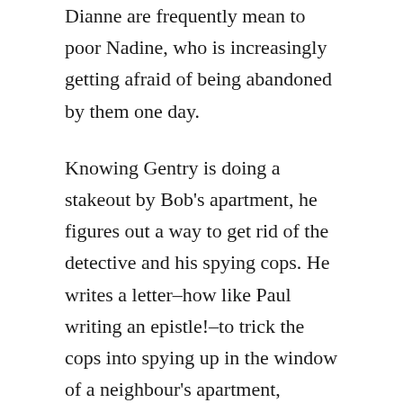Dianne are frequently mean to poor Nadine, who is increasingly getting afraid of being abandoned by them one day.
Knowing Gentry is doing a stakeout by Bob's apartment, he figures out a way to get rid of the detective and his spying cops. He writes a letter–how like Paul writing an epistle!–to trick the cops into spying up in the window of a neighbour's apartment, provoking the man living there to get his rifle and shoot at the cops; for Bob has led his neighbour to believe the spying cop up at the window is a peeping Tom!
Bob, Dianne, Rick, and Nadine all sit by their window to watch the neighbour shoot the cop peeping in his window. Bob sets it up as some fun entertainment for